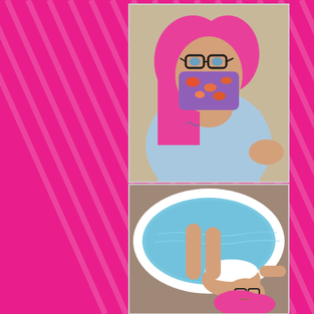[Figure (photo): Person with pink hair wearing a blue hospital gown and a colorful purple face mask with cartoon fish print, looking down at camera from above. The person has glasses and visible tattoos on their chest. Hospital/medical setting.]
[Figure (photo): Person with pink hair and glasses lying back in a white inflatable birth pool filled with blue-tinged water, wearing a white bra/top. The person's legs extend into the pool and arms are spread out. Viewed from above.]